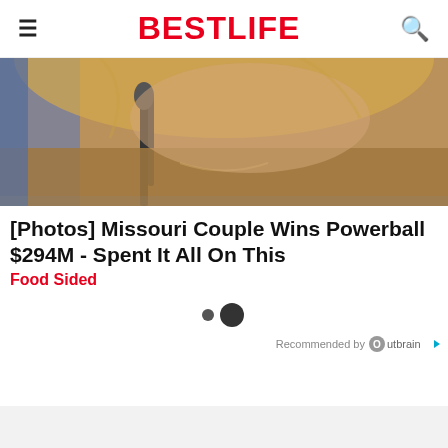BESTLIFE
[Figure (photo): Close-up photo of a woman with blonde hair wearing a fur coat, speaking at a microphone. Blue background visible on left side.]
[Photos] Missouri Couple Wins Powerball $294M - Spent It All On This
Food Sided
[Figure (other): Two navigation dots — a small dark dot and a larger dark circle — indicating a carousel position indicator.]
Recommended by Outbrain